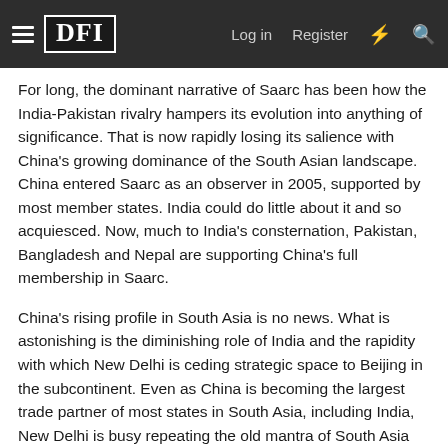DFI  Log in  Register
For long, the dominant narrative of Saarc has been how the India-Pakistan rivalry hampers its evolution into anything of significance. That is now rapidly losing its salience with China's growing dominance of the South Asian landscape. China entered Saarc as an observer in 2005, supported by most member states. India could do little about it and so acquiesced. Now, much to India's consternation, Pakistan, Bangladesh and Nepal are supporting China's full membership in Saarc.
China's rising profile in South Asia is no news. What is astonishing is the diminishing role of India and the rapidity with which New Delhi is ceding strategic space to Beijing in the subcontinent. Even as China is becoming the largest trade partner of most states in South Asia, including India, New Delhi is busy repeating the old mantra of South Asia being India's exclusive sphere of influence. Of course, no one even takes note of it anymore.
Pakistan's all-weather friendship with China is well known, but the role of China in the South Asian states has changed.